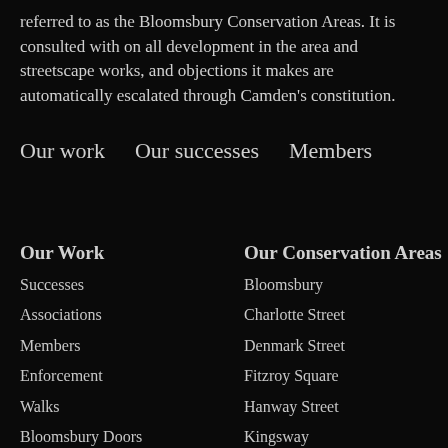referred to as the Bloomsbury Conservation Areas. It is consulted with on all development in the area and streetscape works, and objections it makes are automatically escalated through Camden's constitution.
Our work   Our successes   Members
Our Work
Successes
Associations
Members
Enforcement
Walks
Bloomsbury Doors
Our Conservation Areas
Bloomsbury
Charlotte Street
Denmark Street
Fitzroy Square
Hanway Street
Kingsway
Seven Dials
Developers
Residents